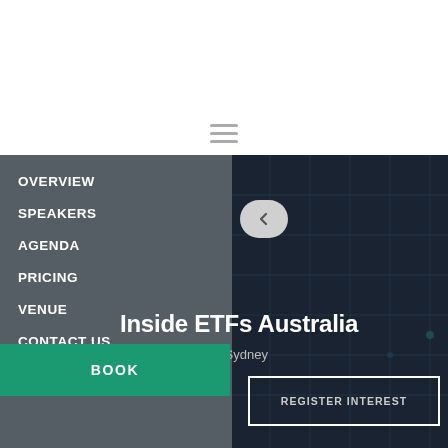[Figure (screenshot): Website navigation overlay for Inside ETFs Australia event page. Top white area with hamburger menu icon. Dark navy hero background on right. Grey navigation panel on left showing menu items: OVERVIEW, SPEAKERS, AGENDA, PRICING, VENUE, CONTACT US, SUSTAINABILITY. Back arrow button visible. Event title 'Inside ETFs Australia' and date 'May 2022 | Hilton Sydney' shown in hero area. Green BOOK button and outlined REGISTER INTEREST button at bottom.]
OVERVIEW
SPEAKERS
AGENDA
PRICING
VENUE
CONTACT US
SUSTAINABILITY
Inside ETFs Australia
May 2022 | Hilton Sydney